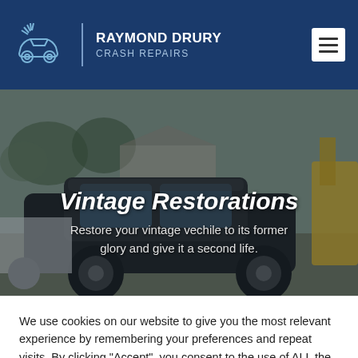[Figure (logo): Raymond Drury Crash Repairs logo with stylized car crash icon in blue tones and company name in white text]
[Figure (photo): A black vintage car in a yard with other vehicles and trees in the background, slightly overcast sky]
Vintage Restorations
Restore your vintage vechile to its former glory and give it a second life.
We use cookies on our website to give you the most relevant experience by remembering your preferences and repeat visits. By clicking “Accept”, you consent to the use of ALL the cookies.
Cookie settings
ACCEPT